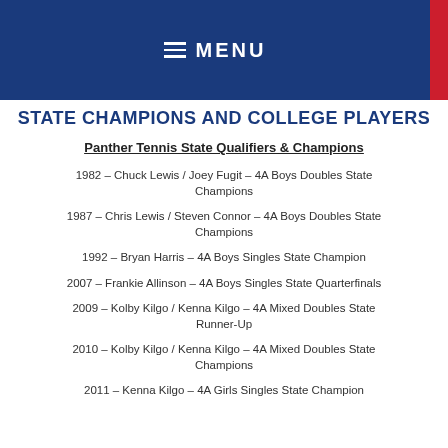MENU
STATE CHAMPIONS AND COLLEGE PLAYERS
Panther Tennis State Qualifiers & Champions
1982 – Chuck Lewis / Joey Fugit – 4A Boys Doubles State Champions
1987 – Chris Lewis / Steven Connor – 4A Boys Doubles State Champions
1992 – Bryan Harris – 4A Boys Singles State Champion
2007 – Frankie Allinson – 4A Boys Singles State Quarterfinals
2009 – Kolby Kilgo / Kenna Kilgo – 4A Mixed Doubles State Runner-Up
2010 – Kolby Kilgo / Kenna Kilgo – 4A Mixed Doubles State Champions
2011 – Kenna Kilgo – 4A Girls Singles State Champion